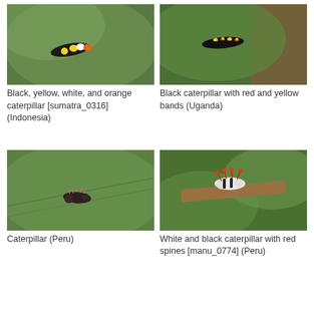[Figure (photo): Black, yellow, white, and orange caterpillar on a green leaf (Indonesia, sumatra_0316)]
Black, yellow, white, and orange caterpillar [sumatra_0316] (Indonesia)
[Figure (photo): Black caterpillar with red and yellow bands on green leaves near bark (Uganda)]
Black caterpillar with red and yellow bands (Uganda)
[Figure (photo): Caterpillar on a large green leaf (Peru)]
Caterpillar (Peru)
[Figure (photo): White and black caterpillar with red spines on a wooden stick among green foliage (Peru, manu_0774)]
White and black caterpillar with red spines [manu_0774] (Peru)